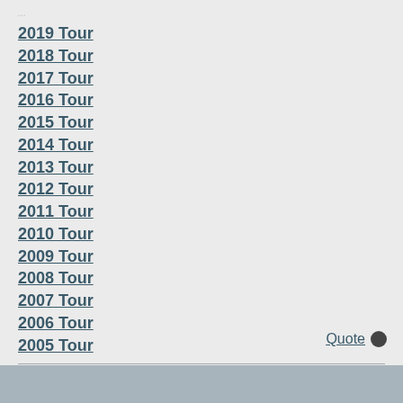...
2019 Tour
2018 Tour
2017 Tour
2016 Tour
2015 Tour
2014 Tour
2013 Tour
2012 Tour
2011 Tour
2010 Tour
2009 Tour
2008 Tour
2007 Tour
2006 Tour
2005 Tour
Last edited by TheBang; 06-06-2021 at 02:35 AM. Reason: coronavirus 4